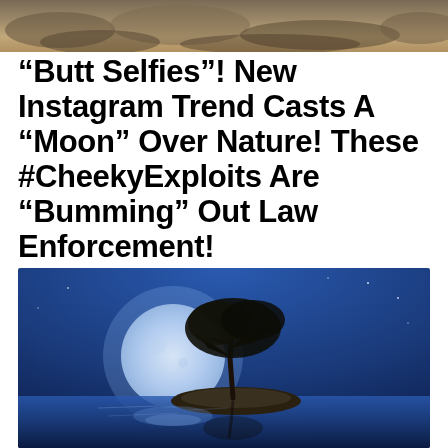[Figure (photo): Top portion of an outdoor nature photo, appears to show rocks or terrain, partially cropped]
“Butt Selfies”! New Instagram Trend Casts A “Moon” Over Nature! These #CheekyExploits Are “Bumming” Out Law Enforcement!
[Figure (photo): A lone tree silhouetted on a small island reflected in still water, with a large full moon glowing behind it against a deep blue sky]